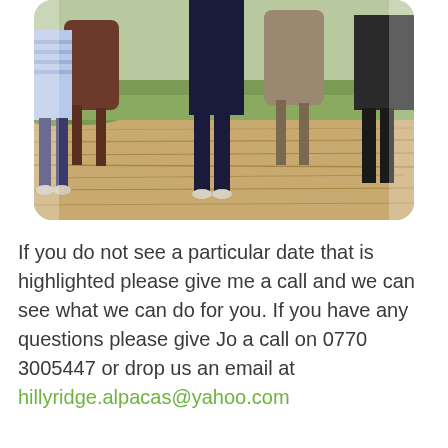[Figure (photo): Photo of people walking with alpacas on a grassy/hay-covered path, cropped to show legs and lower bodies of people and alpacas]
If you do not see a particular date that is highlighted please give me a call and we can see what we can do for you. If you have any questions please give Jo a call on 0770 3005447 or drop us an email at hillyridge.alpacas@yahoo.com